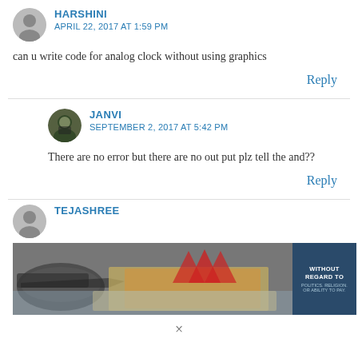HARSHINI
APRIL 22, 2017 AT 1:59 PM
can u write code for analog clock without using graphics
Reply
JANVI
SEPTEMBER 2, 2017 AT 5:42 PM
There are no error but there are no out put plz tell the and??
Reply
TEJASHREE
[Figure (photo): Advertisement banner showing aircraft being loaded with cargo, with text overlay reading WITHOUT REGARD TO / POLITICS. RELIGION. OR ABILITY TO PAY.]